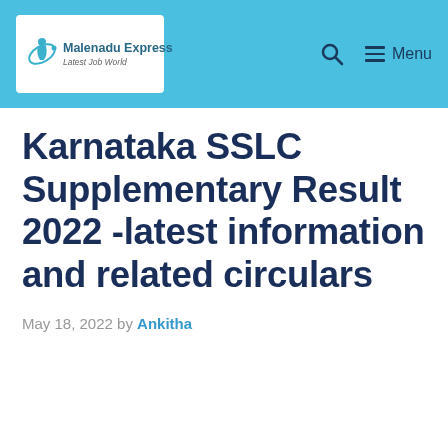Malenadu Express - Latest Job World | Menu
Karnataka SSLC Supplementary Result 2022 -latest information and related circulars
May 18, 2022 by Ankitha